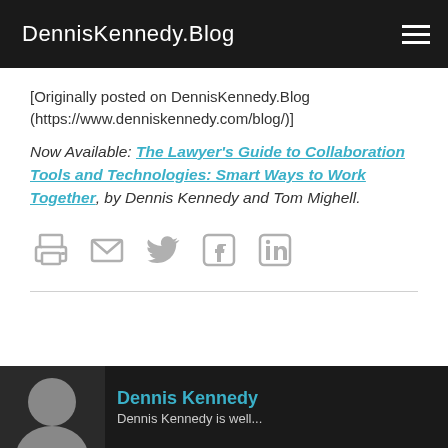DennisKennedy.Blog
[Originally posted on DennisKennedy.Blog (https://www.denniskennedy.com/blog/)]
Now Available: The Lawyer's Guide to Collaboration Tools and Technologies: Smart Ways to Work Together, by Dennis Kennedy and Tom Mighell.
[Figure (other): Row of social sharing icons: print, email, Twitter, Facebook, LinkedIn]
[Figure (photo): Author section with Dennis Kennedy photo and name, dark background]